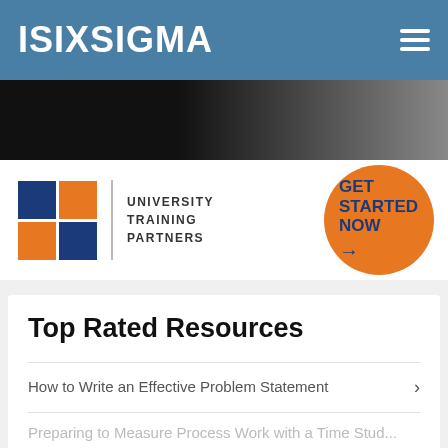ISIXSIGMA
[Figure (screenshot): Banner with 'Office Hours' text on dark background with person in white shirt]
[Figure (infographic): University Training Partners advertisement with blue/orange logo squares and 'GET STARTED NOW' orange circle CTA]
Top Rated Resources
How to Write an Effective Problem Statement
High-performance Teams: Understanding Team Cohesiveness
Preparing to Measure Process Work with a Time Study